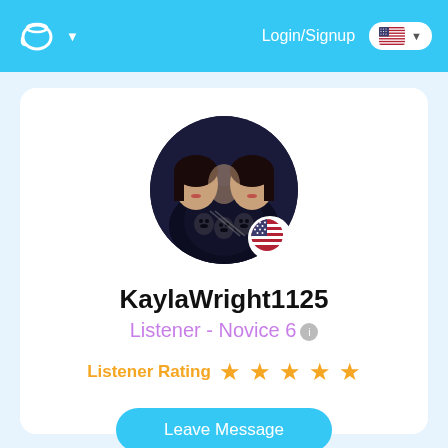Login/Signup
[Figure (photo): Circular profile photo of KaylaWright1125 with a US flag badge overlay at the bottom right]
KaylaWright1125
Listener - Novice 6
Listener Rating ★★★★★
Leave Message